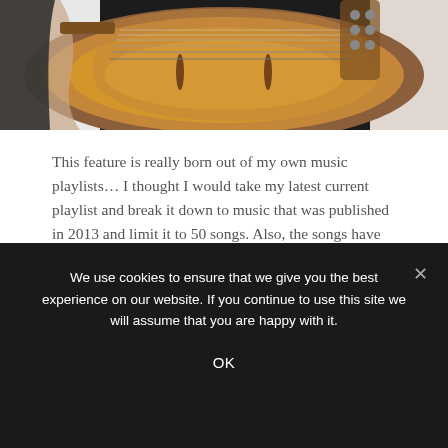[Figure (photo): Partial photo of a person playing a guitar (semi-hollow body, sunburst finish), cropped at top showing hands and instrument against dark background]
This feature is really born out of my own music playlists...  I thought I would take my latest current playlist and break it down to music that was published in 2013 and limit it to 50 songs.  Also, the songs have to be off of albums that came out in 2013 (not singles released in 2013 for albums that debuted in 2012).  My only
We use cookies to ensure that we give you the best experience on our website. If you continue to use this site we will assume that you are happy with it.
OK